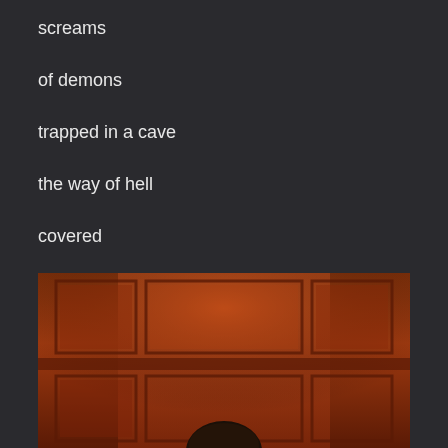screams
of demons
trapped in a cave
the way of hell
covered
with ashes.
[Figure (photo): Photo of a person with dark hair sitting in front of a wooden paneled wall/door with warm reddish-brown tones, only the top of the head visible at the bottom of the image.]